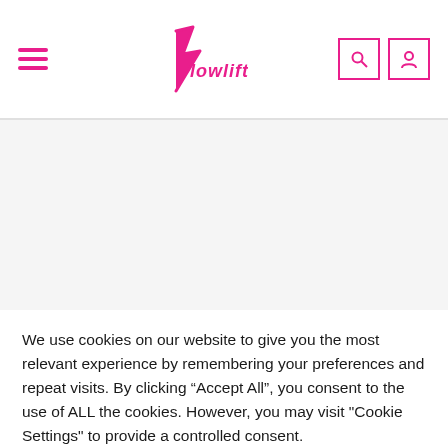Flowlift navigation header with hamburger menu, logo, search and user icons
We use cookies on our website to give you the most relevant experience by remembering your preferences and repeat visits. By clicking “Accept All”, you consent to the use of ALL the cookies. However, you may visit "Cookie Settings" to provide a controlled consent.
Cookie Settings | Accept All